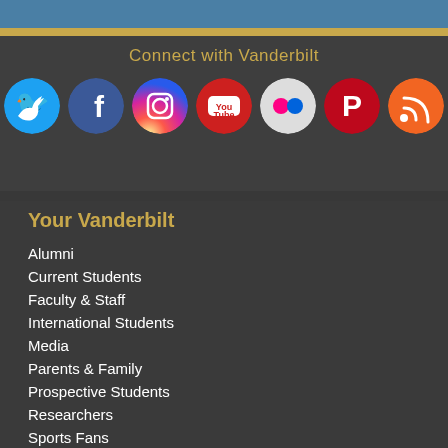Connect with Vanderbilt
[Figure (infographic): Row of social media icons: Twitter (blue circle), Facebook (dark blue circle), Instagram (gradient circle), YouTube (red circle), Flickr (gray circle with colored dots), Pinterest (red circle), RSS (orange circle)]
Your Vanderbilt
Alumni
Current Students
Faculty & Staff
International Students
Media
Parents & Family
Prospective Students
Researchers
Sports Fans
Visitors & Neighbors